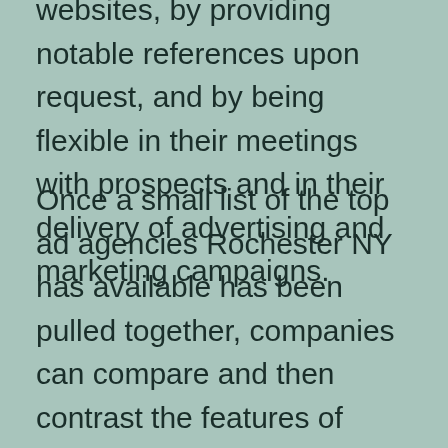websites, by providing notable references upon request, and by being flexible in their meetings with prospects and in their delivery of advertising and marketing campaigns.
Once a small list of the top ad agencies Rochester NY has available has been pulled together, companies can compare and then contrast the features of each, with an eventual decision on the agency that will best provide the most ideal solutions for them. There is not a lot of guesswork in picking out an ad agency in Rochester NY or elsewhere, thank goodness; and with the web and its unlimited